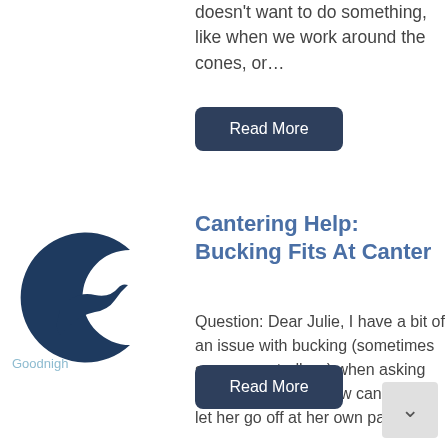doesn't want to do something, like when we work around the cones, or…
Read More
[Figure (logo): Goodnight logo with crescent moon and dolphin in dark navy blue]
Cantering Help: Bucking Fits At Canter
Question: Dear Julie, I have a bit of an issue with bucking (sometimes so unexpectedly…) when asking my mare to lope (slow canter). If I let her go off at her own pace…
Read More